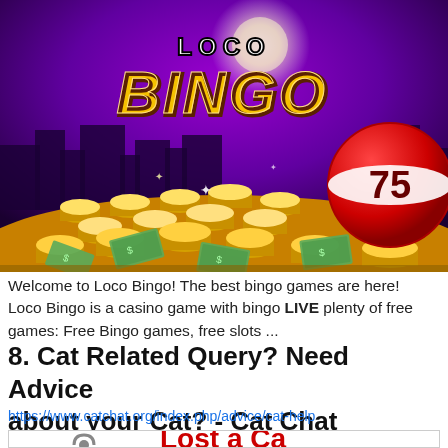[Figure (screenshot): Loco Bingo game promotional banner with gold coins, dollar bills, purple sky background, and a large red bingo ball showing number 75]
Welcome to Loco Bingo! The best bingo games are here! Loco Bingo is a casino game with bingo LIVE plenty of free games: Free Bingo games, free slots ...
8. Cat Related Query? Need Advice about your Cat? - Cat Chat
https://www.catchat.org/index.php/advice/cat-help
[Figure (screenshot): Partial view of Cat Chat website card showing a cat logo icon and red text beginning with 'Lost a Ca...']